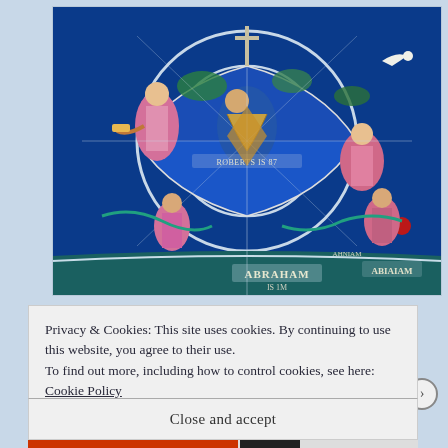[Figure (photo): Close-up photograph of a colorful stained glass window featuring religious scenes with robed figures, including labels reading 'ABRAHAM' and 'ABIAHAM' at the bottom, set against a predominantly blue background with green, red, and gold accents.]
Privacy & Cookies: This site uses cookies. By continuing to use this website, you agree to their use.
To find out more, including how to control cookies, see here: Cookie Policy
Close and accept